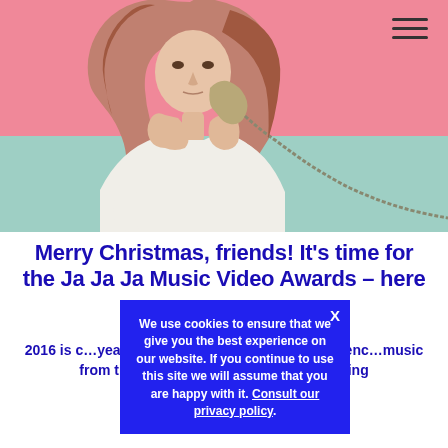[Figure (photo): Woman in white top holding a vintage telephone handset against her cheek, pink background above and mint/teal background below]
Merry Christmas, friends! It's time for the Ja Ja Ja Music Video Awards – here we go
2016 is c... year has passed an... luxury of experienc... music from the Nord... 2015 we decided... standing
We use cookies to ensure that we give you the best experience on our website. If you continue to use this site we will assume that you are happy with it. Consult our privacy policy.